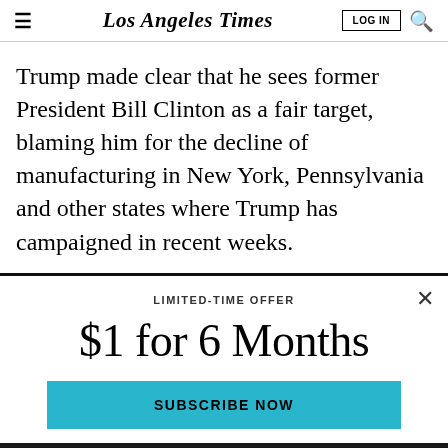Los Angeles Times
Trump made clear that he sees former President Bill Clinton as a fair target, blaming him for the decline of manufacturing in New York, Pennsylvania and other states where Trump has campaigned in recent weeks.
LIMITED-TIME OFFER
$1 for 6 Months
SUBSCRIBE NOW
By continuing to use our site, you agree to our Terms of Service and Privacy Policy. You can learn more about how we use cookies by reviewing our Privacy Policy. Close
Already a subscriber? LOG IN